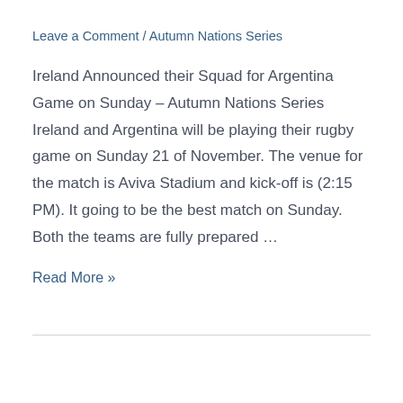Leave a Comment / Autumn Nations Series
Ireland Announced their Squad for Argentina Game on Sunday – Autumn Nations Series Ireland and Argentina will be playing their rugby game on Sunday 21 of November. The venue for the match is Aviva Stadium and kick-off is (2:15 PM). It going to be the best match on Sunday. Both the teams are fully prepared …
Read More »